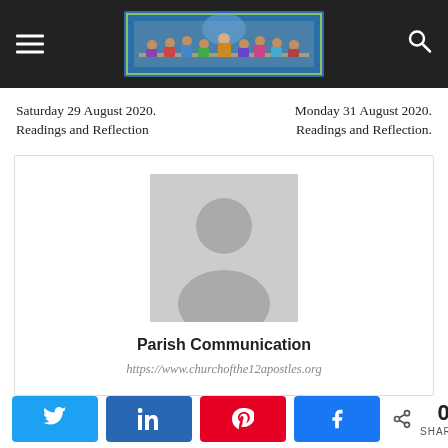[Figure (illustration): Website header/navigation bar with hamburger menu icon on left, The Last Supper artwork logo in center, and search icon on right, dark background]
Saturday 29 August 2020. Readings and Reflection
Monday 31 August 2020. Readings and Reflection.
[Figure (photo): Author card with gray placeholder avatar (person silhouette), author name 'Parish Communication', and URL 'https://www.churchofthe12apostles.org']
Parish Communication
https://www.churchofthe12apostles.org
[Figure (infographic): Social media share buttons: Twitter (blue), LinkedIn (dark blue), Pinterest (red), Facebook (blue), and share count showing 0 SHARES]